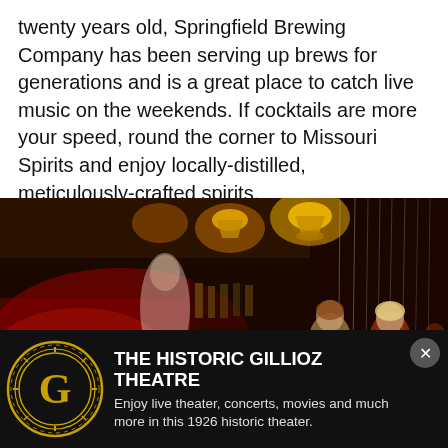twenty years old, Springfield Brewing Company has been serving up brews for generations and is a great place to catch live music on the weekends. If cocktails are more your speed, round the corner to Missouri Spirits and enjoy locally-distilled, meticulously-crafted spirits.
[Figure (photo): Interior of a restaurant/bar with dim warm lighting, red furnishings, people seated at tables, motion-blurred effect giving an energetic feel. Overlay text partially visible at bottom.]
[Figure (logo): THE HISTORIC GILLIOZ THEATRE logo — circular gold emblem with a stylized G in center on black background]
THE HISTORIC GILLIOZ THEATRE
Enjoy live theater, concerts, movies and much more in this 1926 historic theater.